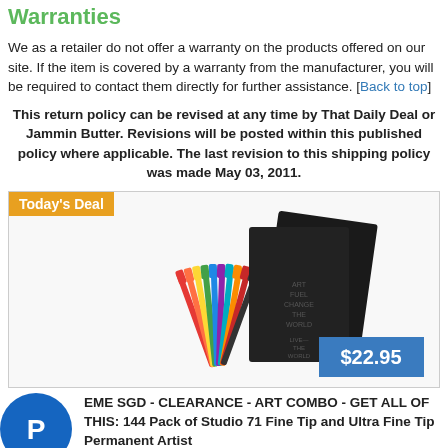Warranties
We as a retailer do not offer a warranty on the products offered on our site. If the item is covered by a warranty from the manufacturer, you will be required to contact them directly for further assistance. [Back to top]
This return policy can be revised at any time by That Daily Deal or Jammin Butter. Revisions will be posted within this published policy where applicable. The last revision to this shipping policy was made May 03, 2011.
[Figure (photo): Today's Deal product image showing colored marker pens and two black notebooks with text. Price tag shows $22.95.]
EME SGD - CLEARANCE - ART COMBO - GET ALL OF THIS: 144 Pack of Studio 71 Fine Tip and Ultra Fine Tip Permanent Artist